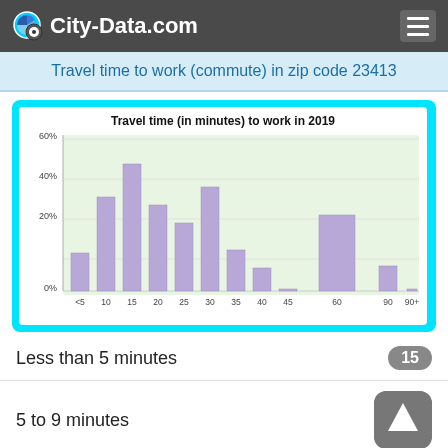City-Data.com
Travel time to work (commute) in zip code 23413
[Figure (histogram): Travel time (in minutes) to work in 2019]
Less than 5 minutes
5 to 9 minutes
10 to 14 minutes